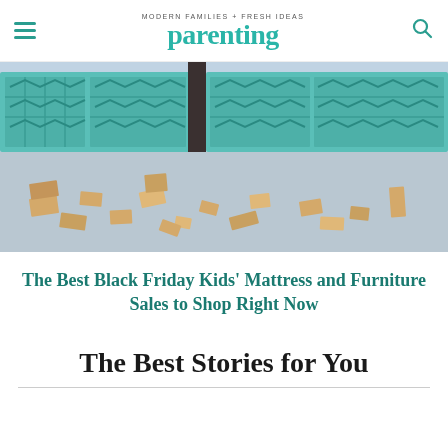MODERN FAMILIES + FRESH IDEAS parenting
[Figure (photo): Photo of wooden toy blocks scattered on a blue-grey carpet, with decorative teal/blue crates in the background]
The Best Black Friday Kids' Mattress and Furniture Sales to Shop Right Now
The Best Stories for You